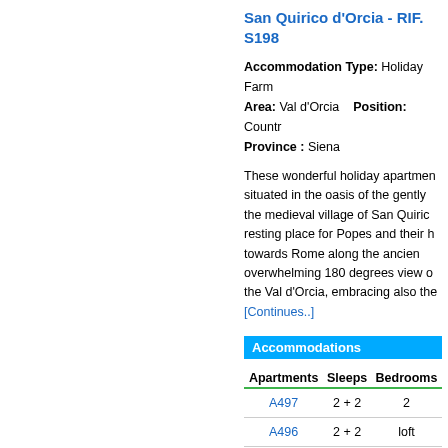San Quirico d'Orcia - RIF. S198
Accommodation Type: Holiday Farm  Area: Val d'Orcia   Position: Country  Province : Siena
These wonderful holiday apartments are situated in the oasis of the gently ... the medieval village of San Quirico... resting place for Popes and their h... towards Rome along the ancien... overwhelming 180 degrees view o... the Val d'Orcia, embracing also the...
[Continues..]
Accommodations
| Apartments | Sleeps | Bedrooms |
| --- | --- | --- |
| A497 | 2 + 2 | 2 |
| A496 | 2 + 2 | loft |
| A495 | 2 | studio |